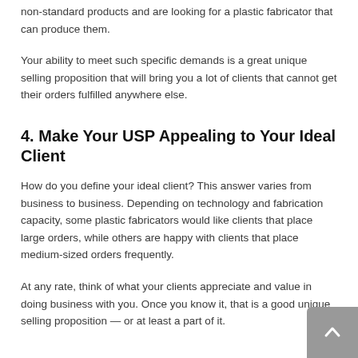non-standard products and are looking for a plastic fabricator that can produce them.
Your ability to meet such specific demands is a great unique selling proposition that will bring you a lot of clients that cannot get their orders fulfilled anywhere else.
4. Make Your USP Appealing to Your Ideal Client
How do you define your ideal client? This answer varies from business to business. Depending on technology and fabrication capacity, some plastic fabricators would like clients that place large orders, while others are happy with clients that place medium-sized orders frequently.
At any rate, think of what your clients appreciate and value in doing business with you. Once you know it, that is a good unique selling proposition — or at least a part of it.